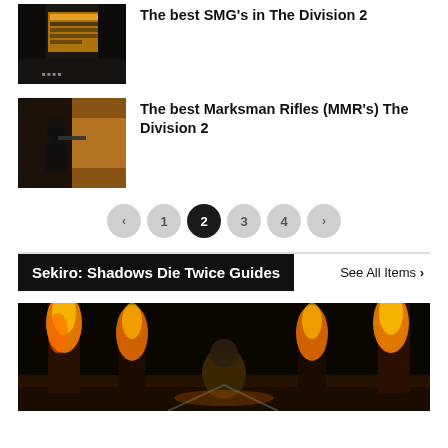[Figure (screenshot): Thumbnail screenshot from The Division 2 showing SMG weapon menu screen]
The best SMG's in The Division 2
[Figure (screenshot): Thumbnail screenshot from The Division 2 showing a character with a sniper/marksman rifle]
The best Marksman Rifles (MMR's) The Division 2
< 1 2 3 4 > (pagination, page 2 active)
Sekiro: Shadows Die Twice Guides
See All Items >
[Figure (screenshot): Large screenshot from Sekiro: Shadows Die Twice showing a character surrounded by fire pillars]